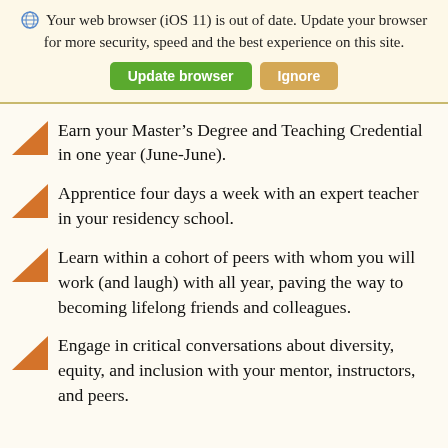Your web browser (iOS 11) is out of date. Update your browser for more security, speed and the best experience on this site. [Update browser] [Ignore]
Earn your Master’s Degree and Teaching Credential in one year (June-June).
Apprentice four days a week with an expert teacher in your residency school.
Learn within a cohort of peers with whom you will work (and laugh) with all year, paving the way to becoming lifelong friends and colleagues.
Engage in critical conversations about diversity, equity, and inclusion with your mentor, instructors, and peers.